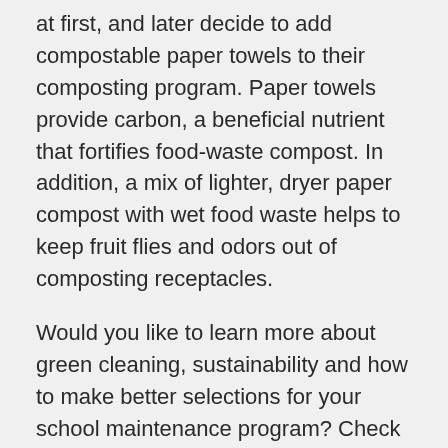at first, and later decide to add compostable paper towels to their composting program. Paper towels provide carbon, a beneficial nutrient that fortifies food-waste compost. In addition, a mix of lighter, dryer paper compost with wet food waste helps to keep fruit flies and odors out of composting receptacles.
Would you like to learn more about green cleaning, sustainability and how to make better selections for your school maintenance program? Check out our 5 Steps to Green Cleaning in Schools to get started.